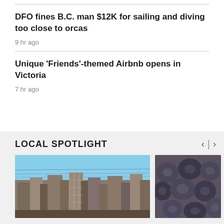DFO fines B.C. man $12K for sailing and diving too close to orcas
9 hr ago
Unique 'Friends'-themed Airbnb opens in Victoria
7 hr ago
LOCAL SPOTLIGHT
[Figure (photo): Photo of a city construction or industrial area under a clear blue sky]
[Figure (photo): Close-up photo of dark blueberries or similar dark round berries]